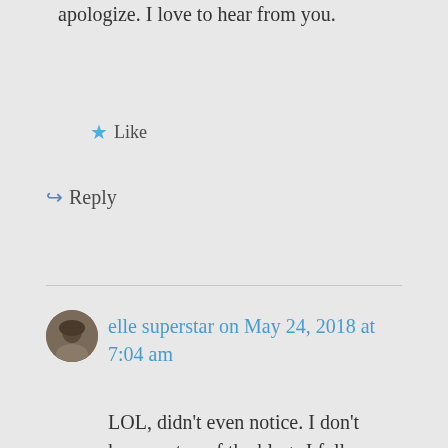apologize. I love to hear from you.
★ Like
↵ Reply
elle superstar on May 24, 2018 at 7:04 am
LOL, didn't even notice. I don't keep on top of the blogs I follow – too busy with real life. In fact, I stopped receiving email notifications for almost all blogs